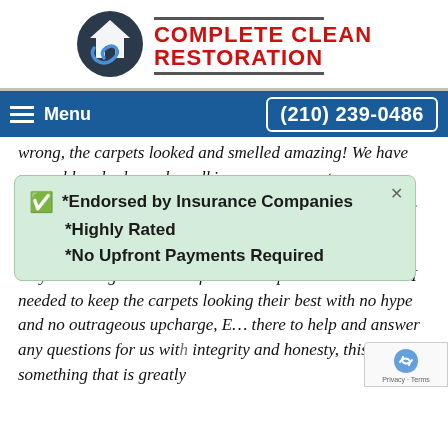[Figure (logo): Complete Clean Restoration logo with circular icon and red bold text]
Menu   (210) 239-0486
wrong, the carpets looked and smelled amazing! We have several hundred people walking on our carpets every month, and for this reason, Complete Clean ... our times ... looking ... ow ... heir awesome customer service, Eric is very professional and very knowledgeable in his field. He explained to me what I needed to keep the carpets looking their best with no hype and no outrageous upcharge, E... there to help and answer any questions for us with integrity and honesty, this is something that is greatly
*Endorsed by Insurance Companies
*Highly Rated
*No Upfront Payments Required